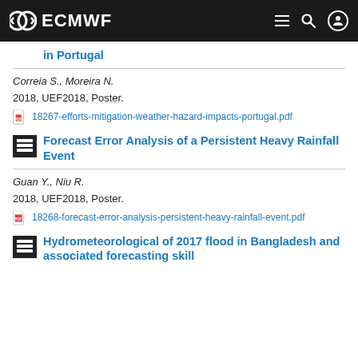ECMWF
in Portugal
Correia S., Moreira N.
2018, UEF2018, Poster.
18267-efforts-mitigation-weather-hazard-impacts-portugal.pdf
Forecast Error Analysis of a Persistent Heavy Rainfall Event
Guan Y., Niu R.
2018, UEF2018, Poster.
18268-forecast-error-analysis-persistent-heavy-rainfall-event.pdf
Hydrometeorological of 2017 flood in Bangladesh and associated forecasting skill